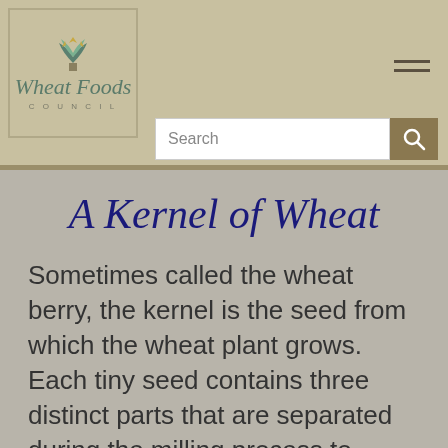[Figure (logo): Wheat Foods Council logo with wheat icon, script text 'Wheat Foods' and spaced caps 'COUNCIL']
A Kernel of Wheat
Sometimes called the wheat berry, the kernel is the seed from which the wheat plant grows. Each tiny seed contains three distinct parts that are separated during the milling process to produce flour.